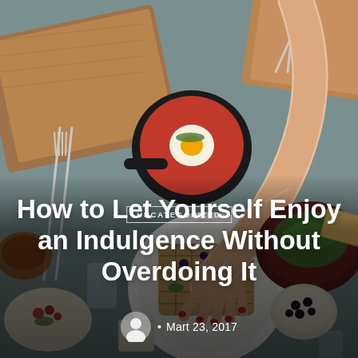[Figure (photo): Overhead flat-lay photo of a brunch table spread with various dishes including a cast-iron skillet with egg dish, waffles on a white plate being touched by a woman's hand with red nails and a bracelet, a plate with salad, a bowl of black beans, glasses, and various other breakfast items on a teal/gray table surface.]
UNCATEGORIZED
How to Let Yourself Enjoy an Indulgence Without Overdoing It
• Mart 23, 2017